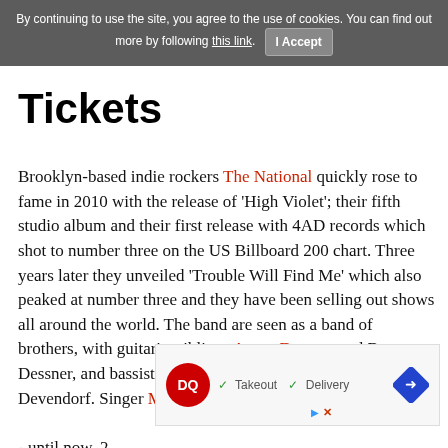By continuing to use the site, you agree to the use of cookies. You can find out more by following this link.  I Accept
Ticket
Brooklyn-based indie rockers The National quickly rose to fame in 2010 with the release of 'High Violet'; their fifth studio album and their first release with 4AD records which shot to number three on the US Billboard 200 chart. Three years later they unveiled 'Trouble Will Find Me' which also peaked at number three and they have been selling out shows all around the world. The band are seen as a band of brothers, with guitarist siblings Aaron Dessner and Bryce Dessner, and bassist Scott Devendorf and drummer Bryan Devendorf. Singer Matt Berninger's brothe - until now. 2 th their m
[Figure (other): Dairy Queen advertisement banner with DQ logo, Takeout and Delivery checkmarks, and navigation map icon]